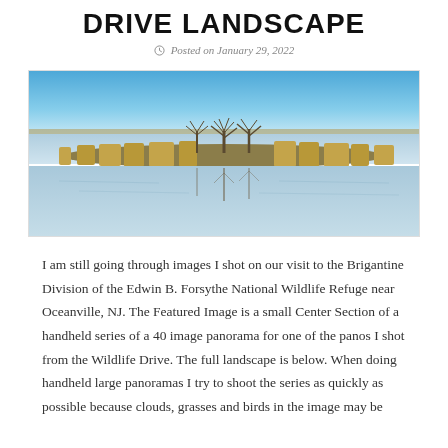DRIVE LANDSCAPE
Posted on January 29, 2022
[Figure (photo): Panoramic landscape photograph of a wetland/marsh area at the Brigantine Division of Edwin B. Forsythe National Wildlife Refuge. Shows calm water with reflections, bare trees on a low island, golden marsh grasses, and a clear blue sky.]
I am still going through images I shot on our visit to the Brigantine Division of the Edwin B. Forsythe National Wildlife Refuge near Oceanville, NJ. The Featured Image is a small Center Section of a handheld series of a 40 image panorama for one of the panos I shot from the Wildlife Drive. The full landscape is below. When doing handheld large panoramas I try to shoot the series as quickly as possible because clouds, grasses and birds in the image may be